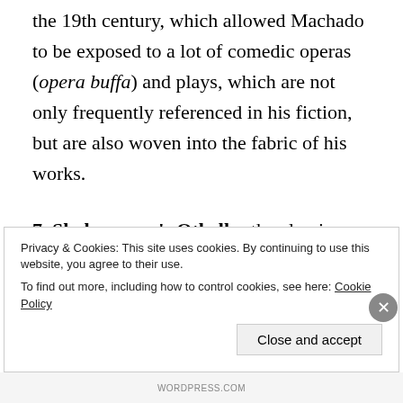the 19th century, which allowed Machado to be exposed to a lot of comedic operas (opera buffa) and plays, which are not only frequently referenced in his fiction, but are also woven into the fabric of his works.
7. Shakespeare's Othello: the classic story of the Moor who kills his wife Desdemona out of jealousy is reflected in the feelings – if not the actions – of
Privacy & Cookies: This site uses cookies. By continuing to use this website, you agree to their use.
To find out more, including how to control cookies, see here: Cookie Policy